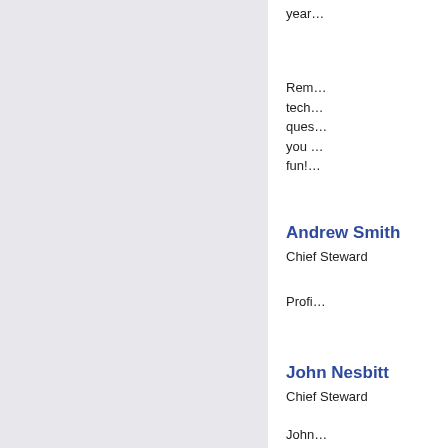year…
Rem… tech… ques… you … fun!…
Andrew Smith
Chief Steward
Profi…
John Nesbitt
Chief Steward
John… and … DB-1… He b…